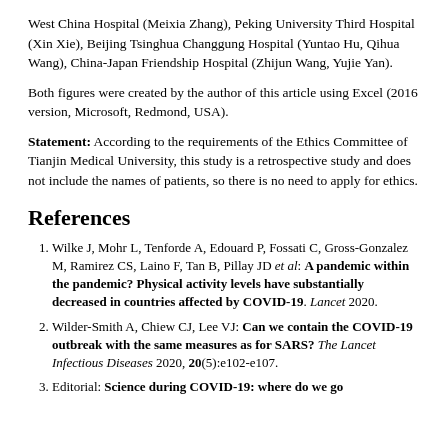West China Hospital (Meixia Zhang), Peking University Third Hospital (Xin Xie), Beijing Tsinghua Changgung Hospital (Yuntao Hu, Qihua Wang), China-Japan Friendship Hospital (Zhijun Wang, Yujie Yan).
Both figures were created by the author of this article using Excel (2016 version, Microsoft, Redmond, USA).
Statement: According to the requirements of the Ethics Committee of Tianjin Medical University, this study is a retrospective study and does not include the names of patients, so there is no need to apply for ethics.
References
Wilke J, Mohr L, Tenforde A, Edouard P, Fossati C, Gross-Gonzalez M, Ramirez CS, Laino F, Tan B, Pillay JD et al: A pandemic within the pandemic? Physical activity levels have substantially decreased in countries affected by COVID-19. Lancet 2020.
Wilder-Smith A, Chiew CJ, Lee VJ: Can we contain the COVID-19 outbreak with the same measures as for SARS? The Lancet Infectious Diseases 2020, 20(5):e102-e107.
Editorial: Science during COVID-19: where do we go